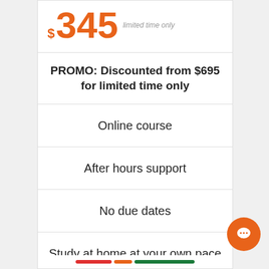$345 limited time only
PROMO: Discounted from $695 for limited time only
Online course
After hours support
No due dates
Study at home at your own pace